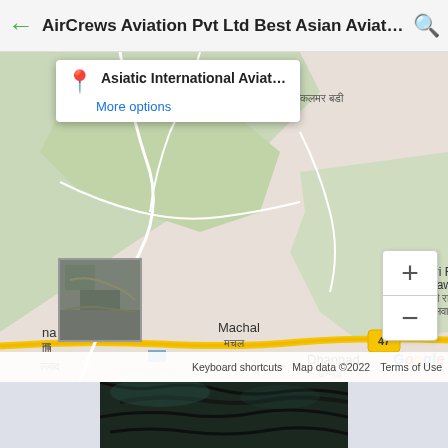AirCrews Aviation Pvt Ltd Best Asian Aviati...
[Figure (screenshot): Google Maps screenshot showing location of Asiatic International Aviation C... near Machal, Dhannad area with route 47, zoom controls, and map thumbnail. Bottom bar shows Keyboard shortcuts, Map data ©2022, Terms of Use.]
[Figure (photo): Partial photo of a person with dark hair, cropped, visible at bottom of page.]